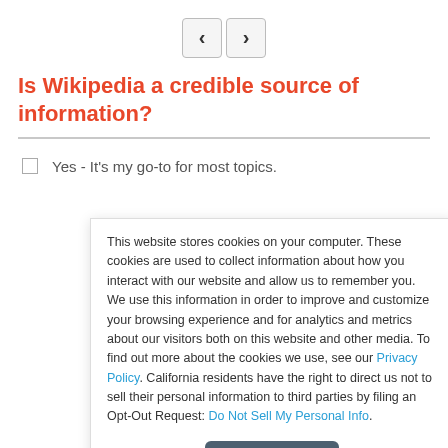[Figure (screenshot): Navigation arrows (back/forward) in rounded square buttons]
Is Wikipedia a credible source of information?
Yes - It's my go-to for most topics.
This website stores cookies on your computer. These cookies are used to collect information about how you interact with our website and allow us to remember you. We use this information in order to improve and customize your browsing experience and for analytics and metrics about our visitors both on this website and other media. To find out more about the cookies we use, see our Privacy Policy. California residents have the right to direct us not to sell their personal information to third parties by filing an Opt-Out Request: Do Not Sell My Personal Info.